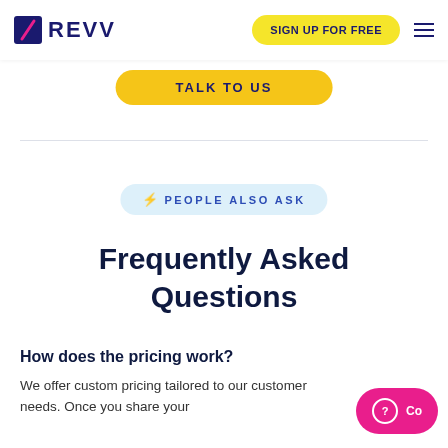[Figure (logo): REVV logo with slash icon and navy text]
SIGN UP FOR FREE
TALK TO US
⚡ PEOPLE ALSO ASK
Frequently Asked Questions
How does the pricing work?
We offer custom pricing tailored to our customer needs. Once you share your